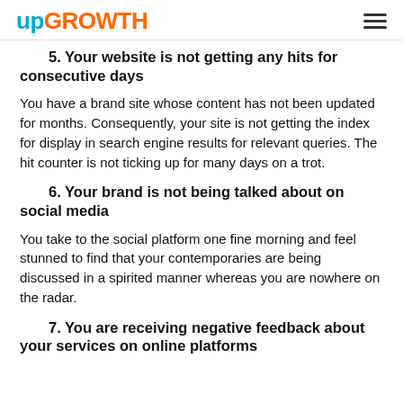upGROWTH
5. Your website is not getting any hits for consecutive days
You have a brand site whose content has not been updated for months. Consequently, your site is not getting the index for display in search engine results for relevant queries. The hit counter is not ticking up for many days on a trot.
6. Your brand is not being talked about on social media
You take to the social platform one fine morning and feel stunned to find that your contemporaries are being discussed in a spirited manner whereas you are nowhere on the radar.
7. You are receiving negative feedback about your services on online platforms